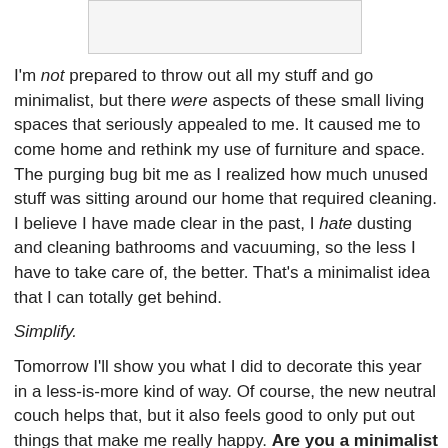[Figure (other): Partial image visible at top of page, appears to be a photograph cropped at the bottom]
I'm not prepared to throw out all my stuff and go minimalist, but there were aspects of these small living spaces that seriously appealed to me. It caused me to come home and rethink my use of furniture and space. The purging bug bit me as I realized how much unused stuff was sitting around our home that required cleaning. I believe I have made clear in the past, I hate dusting and cleaning bathrooms and vacuuming, so the less I have to take care of, the better. That's a minimalist idea that I can totally get behind.
Simplify.
Tomorrow I'll show you what I did to decorate this year in a less-is-more kind of way. Of course, the new neutral couch helps that, but it also feels good to only put out things that make me really happy. Are you a minimalist in your decorating style? Do you dream of making do with less or do you enjoy having a house stuffed to the gills with things that make you smile? Are you attached to things or are